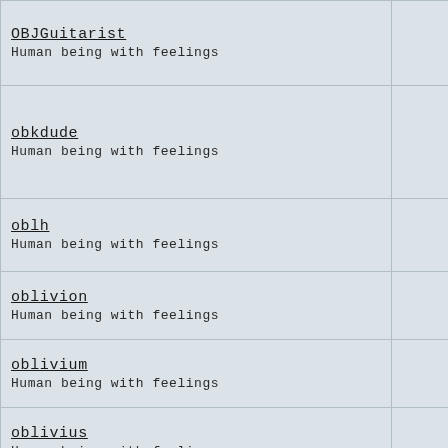| Username / Description | Count |
| --- | --- |
| OBJGuitarist
Human being with feelings | 7 |
| obkdude
Human being with feelings | 33 |
| oblh
Human being with feelings | 16 |
| oblivion
Human being with feelings | 2 |
| oblivium
Human being with feelings | 0 |
| oblivius
Human being with feelings | 43 |
| oblong
Human being with feelings | 0 |
| oblongdot
Human being with feelings | 0 |